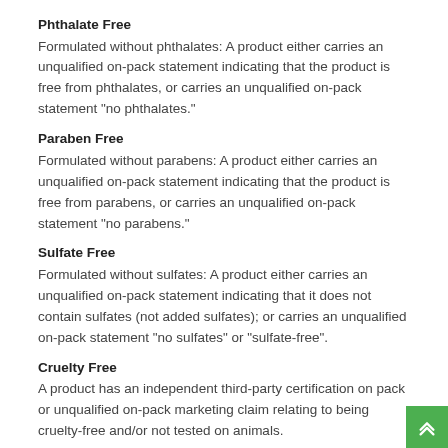Phthalate Free
Formulated without phthalates: A product either carries an unqualified on-pack statement indicating that the product is free from phthalates, or carries an unqualified on-pack statement "no phthalates."
Paraben Free
Formulated without parabens: A product either carries an unqualified on-pack statement indicating that the product is free from parabens, or carries an unqualified on-pack statement "no parabens."
Sulfate Free
Formulated without sulfates: A product either carries an unqualified on-pack statement indicating that it does not contain sulfates (not added sulfates); or carries an unqualified on-pack statement "no sulfates" or "sulfate-free".
Cruelty Free
A product has an independent third-party certification on pack or unqualified on-pack marketing claim relating to being cruelty-free and/or not tested on animals.
Plant Based
A product that carries an unqualified on-pack plant-based statement referring to the product (not plant-based packaging).